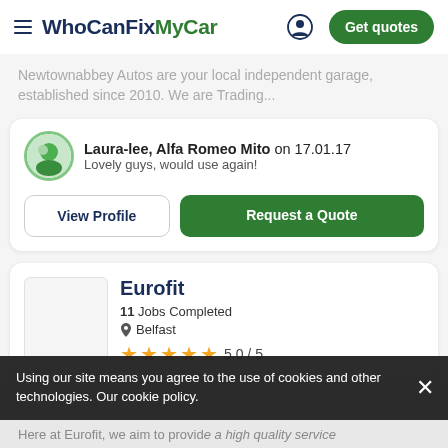WhoCanFixMyCar — Get quotes
Newtownabbey Autos are your local independent garage, established since 2010. We are Trading...
Laura-lee, Alfa Romeo Mito on 17.01.17
Lovely guys, would use again!
View Profile | Request a Quote
Eurofit
11 Jobs Completed
Belfast
5.0 / 5
Using our site means you agree to the use of cookies and other technologies. Our cookie policy.
Here at Eurofit, we aim to provide a high quality service